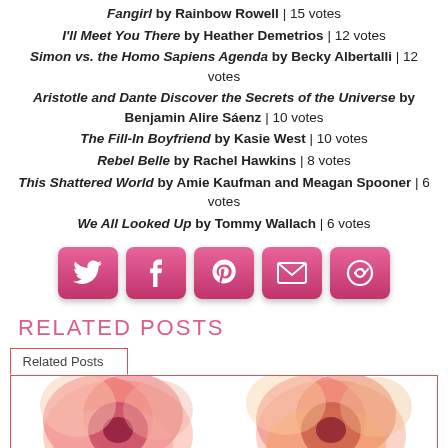Fangirl by Rainbow Rowell | 15 votes
I'll Meet You There by Heather Demetrios | 12 votes
Simon vs. the Homo Sapiens Agenda by Becky Albertalli | 12 votes
Aristotle and Dante Discover the Secrets of the Universe by Benjamin Alire Sáenz | 10 votes
The Fill-In Boyfriend by Kasie West | 10 votes
Rebel Belle by Rachel Hawkins | 8 votes
This Shattered World by Amie Kaufman and Meagan Spooner | 6 votes
We All Looked Up by Tommy Wallach | 6 votes
[Figure (infographic): Social sharing buttons: Twitter, Facebook, Pinterest, Email, and a share icon, all in pink/rose colored rounded square buttons]
RELATED POSTS
[Figure (infographic): Related Posts tab widget with two flower/floral watercolor images side by side]